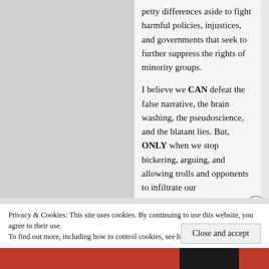petty differences aside to fight harmful policies, injustices, and governments that seek to further suppress the rights of minority groups.
I believe we CAN defeat the false narrative, the brain washing, the pseudoscience, and the blatant lies. But, ONLY when we stop bickering, arguing, and allowing trolls and opponents to infiltrate our
Advertisements
Privacy & Cookies: This site uses cookies. By continuing to use this website, you agree to their use.
To find out more, including how to control cookies, see here: Cookie Policy
Close and accept